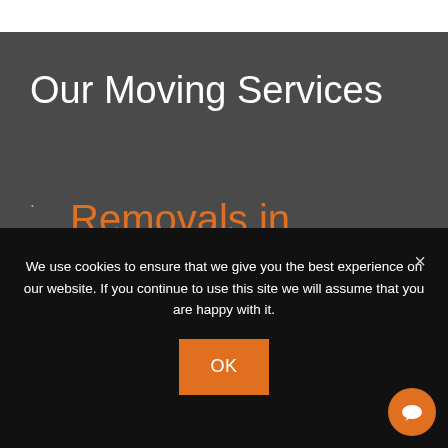Our Moving Services
Removals in Manchester
Storage in
We use cookies to ensure that we give you the best experience on our website. If you continue to use this site we will assume that you are happy with it.
OK